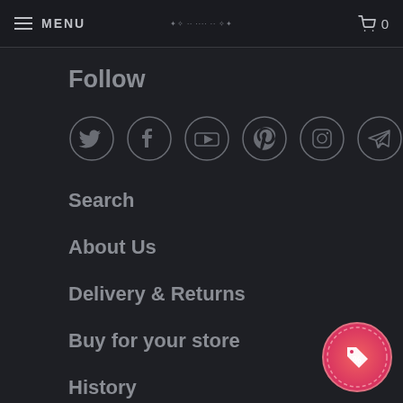MENU  [logo]  0
Follow
[Figure (illustration): Six circular social media icons: Twitter, Facebook, YouTube, Pinterest, Instagram, Telegram]
Search
About Us
Delivery & Returns
Buy for your store
History
Ways to wear your sarong
[Figure (illustration): Red circular discount badge with a tag icon and percent symbol]